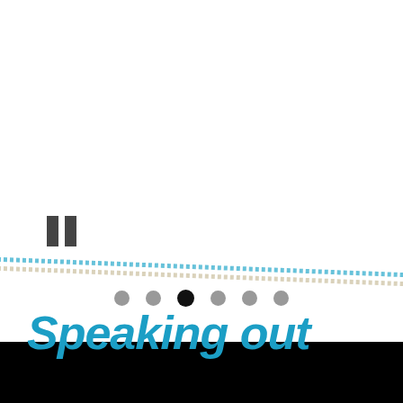[Figure (other): Pause icon: two vertical dark gray rectangles side by side]
[Figure (other): Six navigation dots in a row: five gray, one black (third from left) indicating current position]
[Figure (other): Decorative diagonal lines: two thin lines crossing the full page width, one blue-teal and one beige/cream colored]
Speaking out